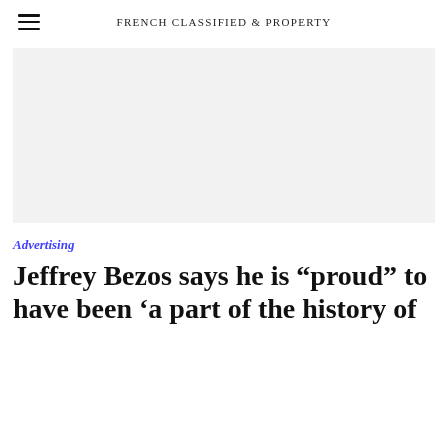FRENCH CLASSIFIED & PROPERTY
[Figure (other): Advertisement placeholder — light grey rectangle]
Advertising
Jeffrey Bezos says he is “proud” to have been ‘a part of the history of